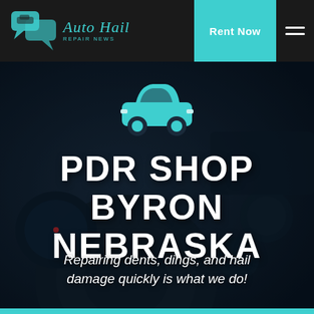Auto Hail Repair News — Rent Now
[Figure (illustration): Car interior dashboard hero image with dark overlay, teal car icon, large bold text PDR SHOP BYRON NEBRASKA, and italic subtitle]
PDR SHOP BYRON NEBRASKA
Repairing dents, dings, and hail damage quickly is what we do!